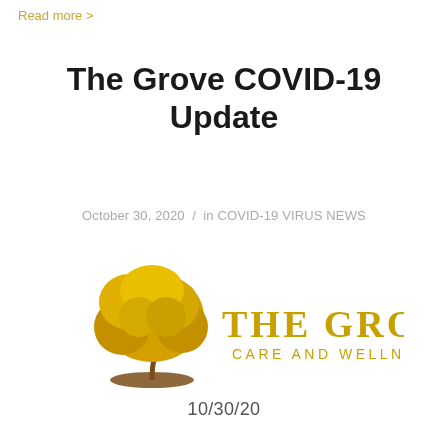Read more >
The Grove COVID-19 Update
October 30, 2020 / in COVID-19 VIRUS NEWS
[Figure (logo): The Grove Care and Wellness logo with a golden tree illustration on the left and 'THE GROVE CARE AND WELLNESS' text in gold on the right]
10/30/20